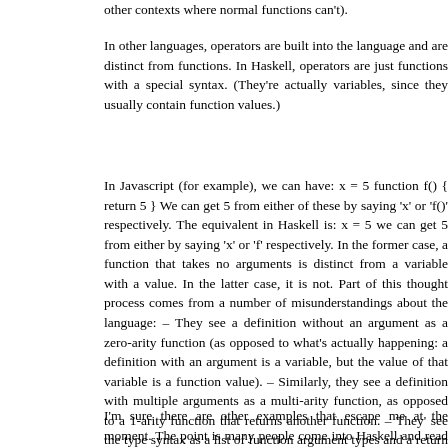other contexts where normal functions can't).
In other languages, operators are built into the language and are distinct from functions. In Haskell, operators are just functions with a special syntax. (They're actually variables, since they usually contain function values.)
In Javascript (for example), we can have: x = 5 function f() { return 5 } We can get 5 from either of these by saying 'x' or 'f()' respectively. The equivalent in Haskell is: x = 5 f = \() -> 5 we can get 5 from either by saying 'x' or 'f' respectively. In the former case, a function that takes no arguments is distinct from a variable with a value. In the latter case, it is not. Part of this thought process comes from a number of misunderstandings about the language: – They see a definition without an argument as a zero-arity function (as opposed to what's actually happening: a definition with an argument is a variable, but the value of that variable is a function value). – Similarly, they see a definition with multiple arguments as a multi-arity function, as opposed to a 1-arity function that returns another function. – They see the type syntax as a list of function argument types and a return type separated by arrows, and figure if there's no arrows it's a function that just returns something and takes no arguments. – They're probably coming from languages with no lambdas, so they don't really understand the concept of "a variable with a function value", and instead think of functions as being a kind of toplevel definition with a special syntax. So, when they see toplevel definitions of functions in Haskell, they conclude that all toplevel definitions are functions (since they're not syntactically distinct). I think this is what you mean when you talk about "definitions as a function". In my mind, this can actually be a useful (or at least non-harmful) way to think about it; a constant variable can be thought of as a zero-arity function, just as a multi-argument definition can be thought of a multi-arity function, and just as a value in parentheses around it can be thought of as a 1-tuple. None of these things are actually true, but the language is designed in such a way as to allow you to program as if they were true, for the most part.
I'm sure there are other examples that escape me at the moment. The point is that many people come into Haskell and read about functions, and then they read about constants, and think "oh those are functions", and then they read about operators and think